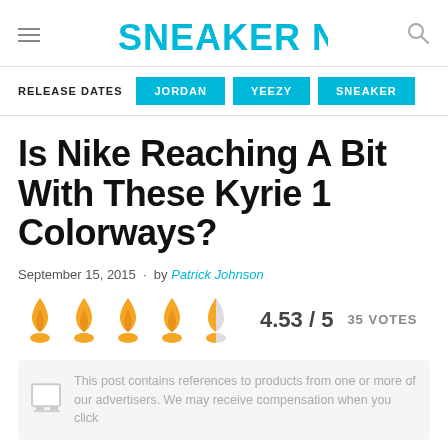SNEAKER NEWS
RELEASE DATES  JORDAN  YEEZY  SNEAKER
Is Nike Reaching A Bit With These Kyrie 1 Colorways?
September 15, 2015 · by Patrick Johnson
[Figure (infographic): Five flame icons (4.5 out of 5 filled in orange) rating display with score 4.53 / 5 and 35 VOTES]
This post contains references to products from one or more of our advertisers. We may receive compensation when you click